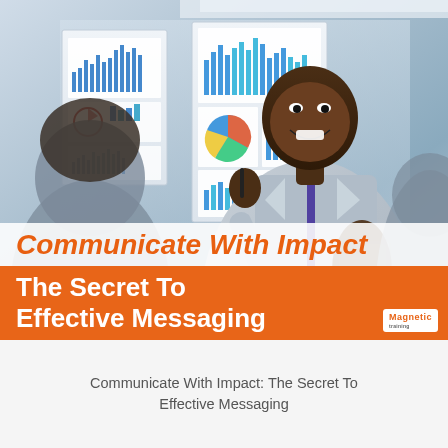[Figure (photo): A smiling Black male presenter in a grey suit and purple tie holding a tablet, standing in front of presentation boards showing charts and graphs, with a blurred audience member in the foreground]
Communicate With Impact
The Secret To Effective Messaging
Communicate With Impact: The Secret To Effective Messaging